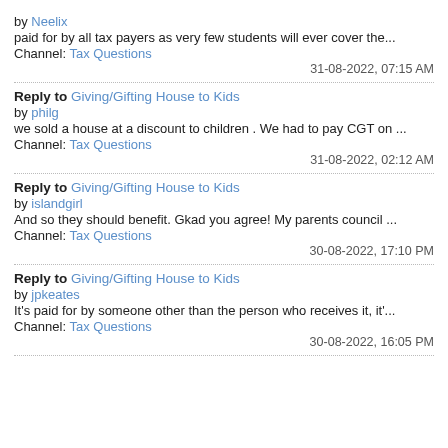by Neelix
paid for by all tax payers as very few students will ever cover the...
Channel: Tax Questions
31-08-2022, 07:15 AM
Reply to Giving/Gifting House to Kids
by philg
we sold a house at a discount to children . We had to pay CGT on ...
Channel: Tax Questions
31-08-2022, 02:12 AM
Reply to Giving/Gifting House to Kids
by islandgirl
And so they should benefit. Gkad you agree! My parents council ...
Channel: Tax Questions
30-08-2022, 17:10 PM
Reply to Giving/Gifting House to Kids
by jpkeates
It's paid for by someone other than the person who receives it, it'...
Channel: Tax Questions
30-08-2022, 16:05 PM